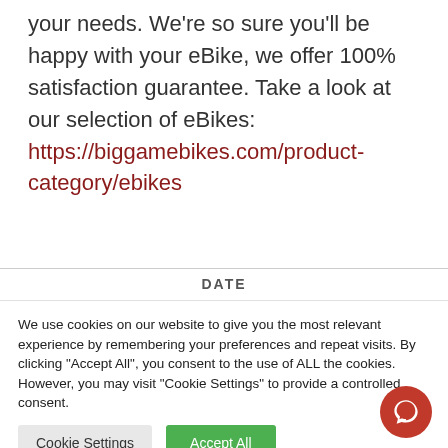your needs. We're so sure you'll be happy with your eBike, we offer 100% satisfaction guarantee. Take a look at our selection of eBikes: https://biggamebikes.com/product-category/ebikes
DATE
We use cookies on our website to give you the most relevant experience by remembering your preferences and repeat visits. By clicking "Accept All", you consent to the use of ALL the cookies. However, you may visit "Cookie Settings" to provide a controlled consent.